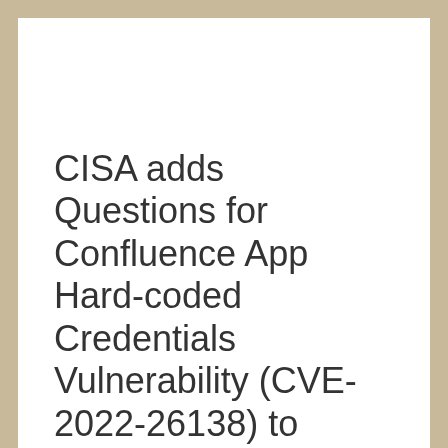CISA adds Questions for Confluence App Hard-coded Credentials Vulnerability (CVE-2022-26138) to Known Exploited Vulnerabilities Catalog
Security Updates & Patches, Vulnerabilities & Exploits / By Frank Guest / July 29, 2022 /